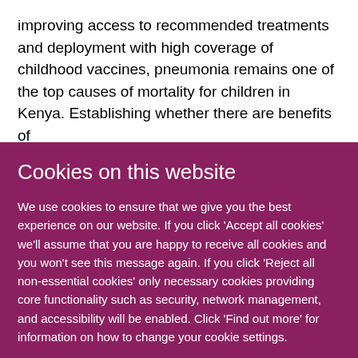improving access to recommended treatments and deployment with high coverage of childhood vaccines, pneumonia remains one of the top causes of mortality for children in Kenya. Establishing whether there are benefits of
Cookies on this website
We use cookies to ensure that we give you the best experience on our website. If you click 'Accept all cookies' we'll assume that you are happy to receive all cookies and you won't see this message again. If you click 'Reject all non-essential cookies' only necessary cookies providing core functionality such as security, network management, and accessibility will be enabled. Click 'Find out more' for information on how to change your cookie settings.